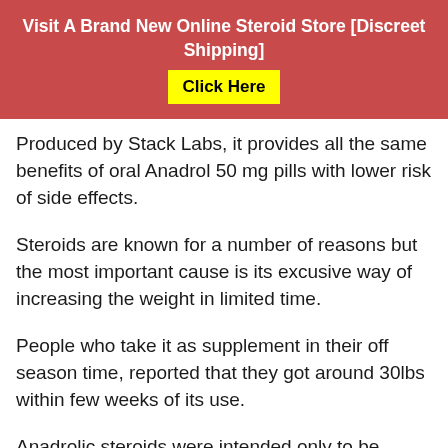Visit A Brand New Online Steroid Store [Discreet Shipping] Click Here
Produced by Stack Labs, it provides all the same benefits of oral Anadrol 50 mg pills with lower risk of side effects.
Steroids are known for a number of reasons but the most important cause is its excusive way of increasing the weight in limited time.
People who take it as supplement in their off season time, reported that they got around 30lbs within few weeks of its use.
Anadrolic steroids were intended only to be